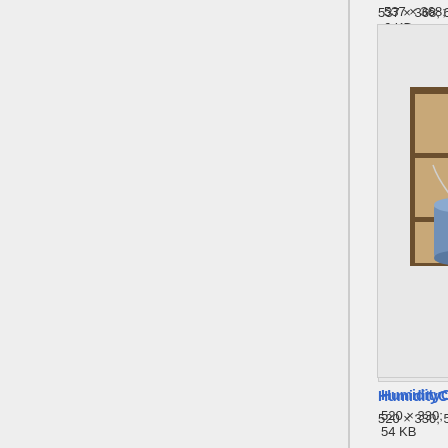537 × 368; 6 KB
[Figure (photo): Photo thumbnail of humidity cells — metal shelving unit with blue water jugs and tubes]
HumidityCells.jpg
520 × 330; 54 KB
[Figure (infographic): Thumbnail of IAP2's Public Participation Spectrum chart with colored boxes and table grid]
IAP2sPublicParticipation...
1,000 × 651; 122 KB
[Figure (photo): Partially visible thumbnail at bottom of page]